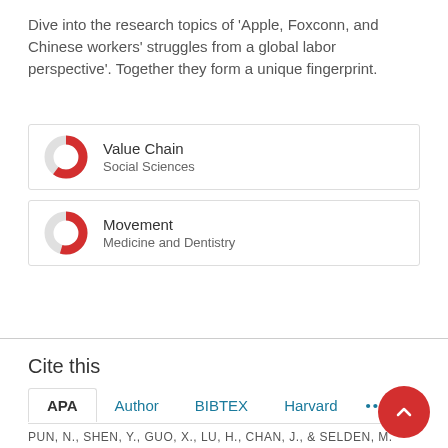Dive into the research topics of 'Apple, Foxconn, and Chinese workers' struggles from a global labor perspective'. Together they form a unique fingerprint.
[Figure (donut-chart): Donut chart for Value Chain, Social Sciences, approximately 60% filled in red]
Value Chain
Social Sciences
[Figure (donut-chart): Donut chart for Movement, Medicine and Dentistry, approximately 55% filled in red]
Movement
Medicine and Dentistry
View full fingerprint >
Cite this
APA   Author   BIBTEX   Harvard   ...
PUN, N., SHEN, Y., GUO, X., LU, H., CHAN, J., & SELDEN, M.